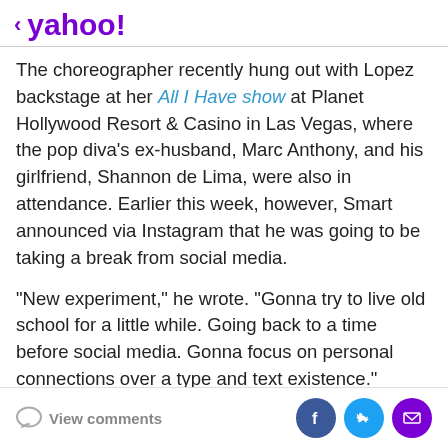< yahoo!
The choreographer recently hung out with Lopez backstage at her All I Have show at Planet Hollywood Resort & Casino in Las Vegas, where the pop diva's ex-husband, Marc Anthony, and his girlfriend, Shannon de Lima, were also in attendance. Earlier this week, however, Smart announced via Instagram that he was going to be taking a break from social media.
"New experiment," he wrote. "Gonna try to live old school for a little while. Going back to a time before social media. Gonna focus on personal connections over a type and text existence."
August 21, 2016, 6:39 AM
View comments